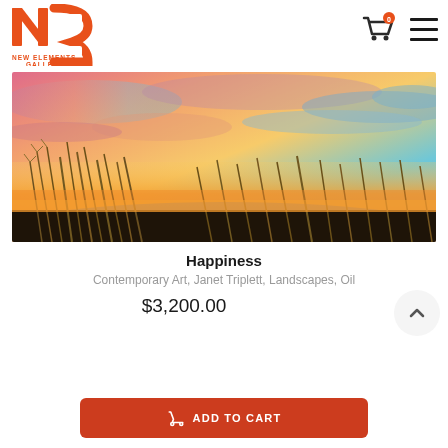[Figure (logo): New Elements Gallery logo — orange NE monogram with text NEW ELEMENTS GALLERY below]
[Figure (illustration): Shopping cart icon with orange badge showing 0]
[Figure (illustration): Hamburger menu icon (three horizontal lines)]
[Figure (photo): Painting of a colorful sunset landscape with tall grass/reeds in the foreground and vivid orange, pink, blue sky]
Happiness
Contemporary Art, Janet Triplett, Landscapes, Oil
$3,200.00
[Figure (illustration): Circular scroll-up chevron button]
ADD TO CART